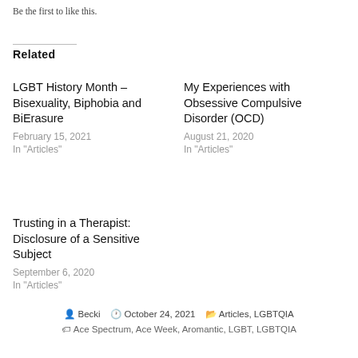Be the first to like this.
Related
LGBT History Month – Bisexuality, Biphobia and BiErasure
February 15, 2021
In "Articles"
My Experiences with Obsessive Compulsive Disorder (OCD)
August 21, 2020
In "Articles"
Trusting in a Therapist: Disclosure of a Sensitive Subject
September 6, 2020
In "Articles"
Becki  October 24, 2021  Articles, LGBTQIA  Ace Spectrum, Ace Week, Aromantic, LGBT, LGBTQIA